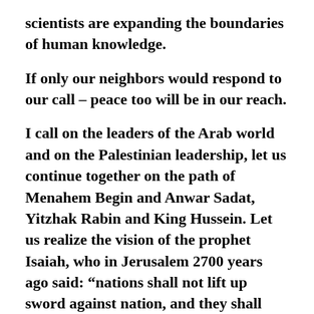scientists are expanding the boundaries of human knowledge.
If only our neighbors would respond to our call – peace too will be in our reach.
I call on the leaders of the Arab world and on the Palestinian leadership, let us continue together on the path of Menahem Begin and Anwar Sadat, Yitzhak Rabin and King Hussein. Let us realize the vision of the prophet Isaiah, who in Jerusalem 2700 years ago said: “nations shall not lift up sword against nation, and they shall learn war no more.”
With G-d’s help, we will know no more war.